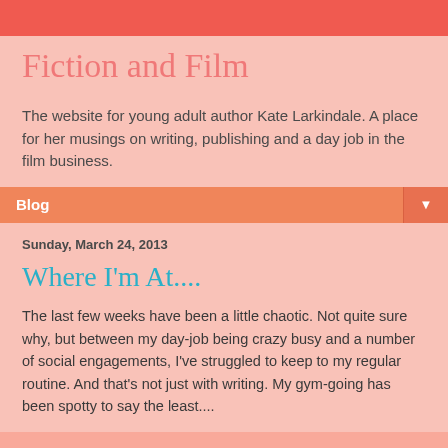Fiction and Film
The website for young adult author Kate Larkindale. A place for her musings on writing, publishing and a day job in the film business.
Blog
Sunday, March 24, 2013
Where I'm At....
The last few weeks have been a little chaotic.  Not quite sure why, but between my day-job being crazy busy and a number of social engagements, I've struggled to keep to my regular routine.  And that's not just with writing.  My gym-going has been spotty to say the least....